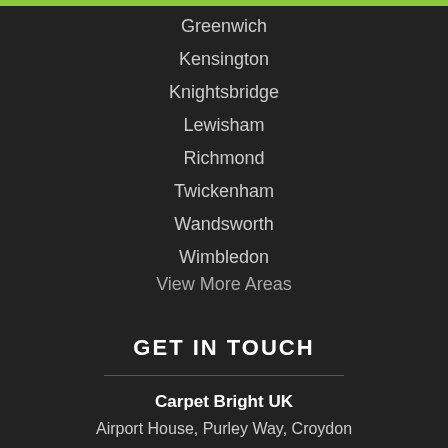Greenwich
Kensington
Knightsbridge
Lewisham
Richmond
Twickenham
Wandsworth
Wimbledon
View More Areas
GET IN TOUCH
Carpet Bright UK
Airport House, Purley Way, Croydon